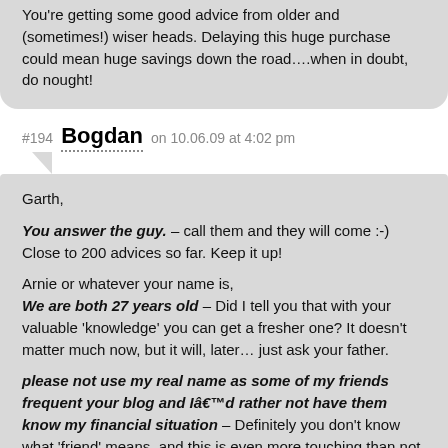You're getting some good advice from older and (sometimes!) wiser heads. Delaying this huge purchase could mean huge savings down the road….when in doubt, do nought!
#194 Bogdan on 10.06.09 at 4:02 pm
Garth,
You answer the guy. – call them and they will come :-) Close to 200 advices so far. Keep it up!

Arnie or whatever your name is,
We are both 27 years old – Did I tell you that with your valuable 'knowledge' you can get a fresher one? It doesn't matter much now, but it will, later… just ask your father.

please not use my real name as some of my friends frequent your blog and I'd rather not have them know my financial situation – Definitely you don't know what 'friend' means, and this is even more touching than not understanding why your sweetheart wants to have a house with you.

We live with our parents. Getting married in about 10 months so